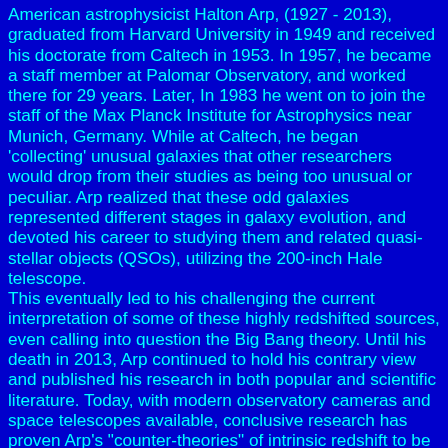American astrophysicist Halton Arp, (1927 - 2013), graduated from Harvard University in 1949 and received his doctorate from Caltech in 1953. In 1957, he became a staff member at Palomar Observatory, and worked there for 29 years. Later, In 1983 he went on to join the staff of the Max Planck Institute for Astrophysics near Munich, Germany. While at Caltech, he began 'collecting' unusual galaxies that other researchers would drop from their studies as being too unusual or peculiar. Arp realized that these odd galaxies represented different stages in galaxy evolution, and devoted his career to studying them and related quasi-stellar objects (QSOs), utilizing the 200-inch Hale telescope. This eventually led to his challenging the current interpretation of some of these highly redshifted sources, even calling into question the Big Bang theory. Until his death in 2013, Arp continued to hold his contrary view and published his research in both popular and scientific literature. Today, with modern observatory cameras and space telescopes available, conclusive research has proven Arp's "counter-theories" of intrinsic redshift to be incorrect. But, even though he was eventually proven to be wrong, Halton Arp made significant contributions to astrophysics by his strong challenges to accepted theory, forcing other astronomers to re-validate their assumptions about galaxy formation and cosmology.